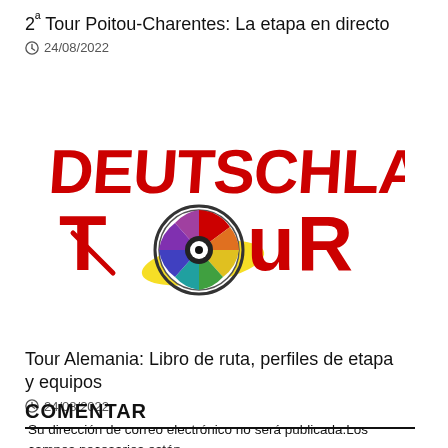2ª Tour Poitou-Charentes: La etapa en directo
24/08/2022
[Figure (logo): Deutschland Tour logo in red stylized text with a cycling wheel graphic replacing the letter O in 'Tour', with colorful segments and a yellow swoosh beneath]
Tour Alemania: Libro de ruta, perfiles de etapa y equipos
24/08/2022
COMENTAR
Su dirección de correo electrónico no será publicada.Los campos necesarios están